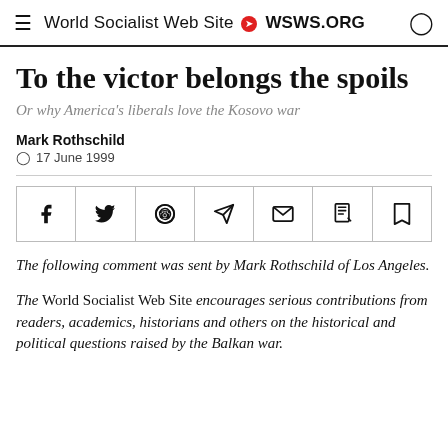World Socialist Web Site • WSWS.ORG
To the victor belongs the spoils
Or why America's liberals love the Kosovo war
Mark Rothschild
17 June 1999
[Figure (other): Social share buttons bar: Facebook, Twitter, WhatsApp, Telegram, Email, PDF, Bookmark]
The following comment was sent by Mark Rothschild of Los Angeles.
The World Socialist Web Site encourages serious contributions from readers, academics, historians and others on the historical and political questions raised by the Balkan war.